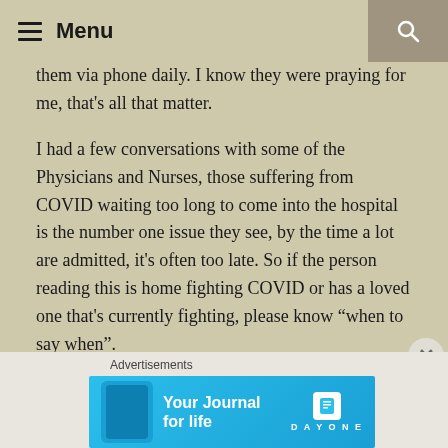Menu
them via phone daily. I know they were praying for me, that's all that matter.
I had a few conversations with some of the Physicians and Nurses, those suffering from COVID waiting too long to come into the hospital is the number one issue they see, by the time a lot are admitted, it's often too late. So if the person reading this is home fighting COVID or has a loved one that's currently fighting, please know “when to say when”.
Peace and Love,
[Figure (screenshot): Advertisement banner for Day One journal app with blue background showing phone and text 'Your Journal for life' with Day One logo]